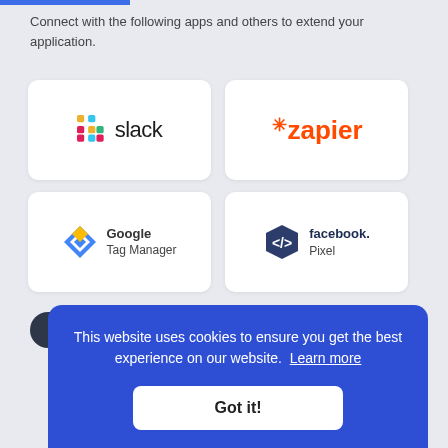Connect with the following apps and others to extend your application.
[Figure (logo): Slack logo — colorful grid icon and 'slack' text]
[Figure (logo): Zapier logo — asterisk and 'zapier' in orange]
[Figure (logo): Google Tag Manager logo — blue diamond icon and 'Google Tag Manager' text]
[Figure (logo): Facebook Pixel logo — dark hexagon with code icon and 'facebook. Pixel' text]
Create an account
This website uses cookies to ensure you get the best experience on our website.  Learn more
Got it!